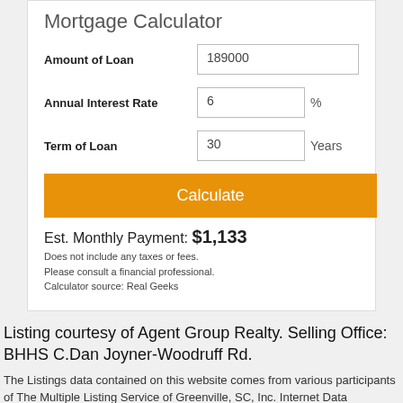Mortgage Calculator
Amount of Loan: 189000
Annual Interest Rate: 6 %
Term of Loan: 30 Years
Calculate
Est. Monthly Payment: $1,133
Does not include any taxes or fees.
Please consult a financial professional.
Calculator source: Real Geeks
Listing courtesy of Agent Group Realty. Selling Office: BHHS C.Dan Joyner-Woodruff Rd.
The Listings data contained on this website comes from various participants of The Multiple Listing Service of Greenville, SC, Inc. Internet Data Exchange. IDX information is provided exclusively for consumers' personal, non-commercial use